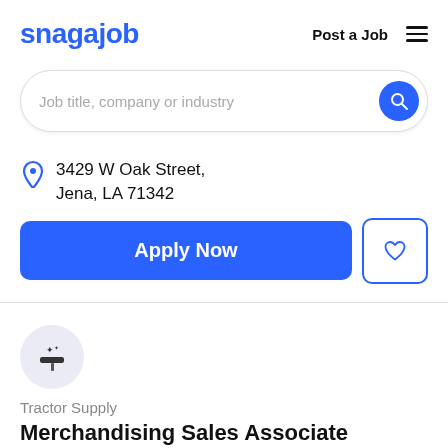snagajob   Post a Job  ☰
Job title, company or industry
3429 W Oak Street, Jena, LA 71342
Apply Now
[Figure (logo): Tractor Supply company logo icon — cleaning/squeegee icon with sparkles on a light gray circle background]
Tractor Supply
Merchandising Sales Associate